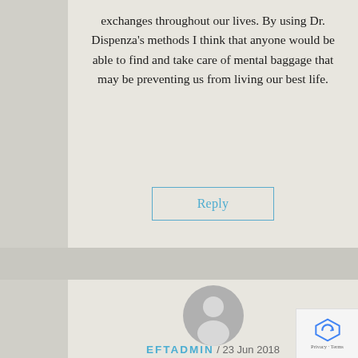exchanges throughout our lives. By using Dr. Dispenza's methods I think that anyone would be able to find and take care of mental baggage that may be preventing us from living our best life.
Reply
[Figure (illustration): Generic user avatar icon — grey circle with silhouette of a person (head and shoulders), no photo.]
EFTADMIN / 23 Jun 2018